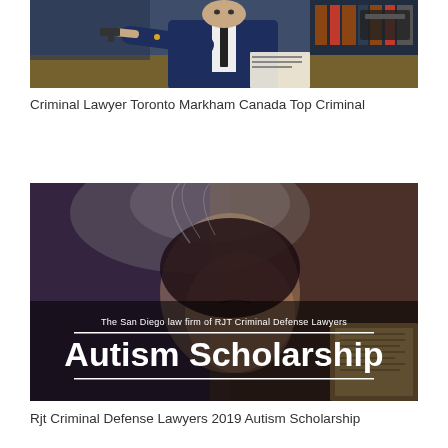[Figure (photo): A lawyer in a blue suit sitting at a desk pointing at the camera, with books and a printer in the background]
Criminal Lawyer Toronto Markham Canada Top Criminal
[Figure (photo): A dark background with a child reading a book, overlaid with text: 'The San Diego law firm of RJT Criminal Defense Lawyers' and large bold text 'Autism Scholarship' with horizontal lines above and below]
Rjt Criminal Defense Lawyers 2019 Autism Scholarship